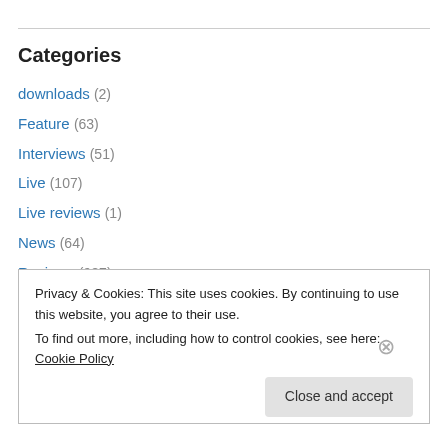Categories
downloads (2)
Feature (63)
Interviews (51)
Live (107)
Live reviews (1)
News (64)
Reviews (987)
Uncategorized (42)
Privacy & Cookies: This site uses cookies. By continuing to use this website, you agree to their use.
To find out more, including how to control cookies, see here: Cookie Policy
Close and accept